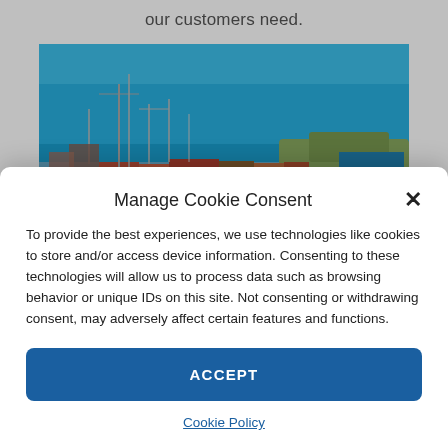our customers need.
[Figure (photo): Outdoor photo of an industrial/marina area with utility poles, equipment, shipping containers, and trees under a bright blue sky.]
Manage Cookie Consent
To provide the best experiences, we use technologies like cookies to store and/or access device information. Consenting to these technologies will allow us to process data such as browsing behavior or unique IDs on this site. Not consenting or withdrawing consent, may adversely affect certain features and functions.
ACCEPT
Cookie Policy